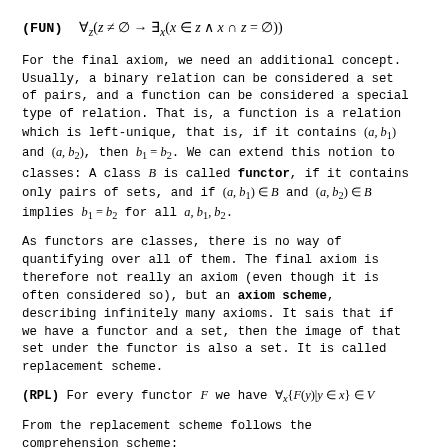For the final axiom, we need an additional concept. Usually, a binary relation can be considered a set of pairs, and a function can be considered a special type of relation. That is, a function is a relation which is left-unique, that is, if it contains (a, b_1) and (a, b_2), then b_1 = b_2. We can extend this notion to classes: A class B is called functor, if it contains only pairs of sets, and if (a, b_1) ∈ B and (a, b_2) ∈ B implies b_1 = b_2 for all a, b_1, b_2.
As functors are classes, there is no way of quantifying over all of them. The final axiom is therefore not really an axiom (even though it is often considered so), but an axiom scheme, describing infinitely many axioms. It sais that if we have a functor and a set, then the image of that set under the functor is also a set. It is called replacement scheme.
From the replacement scheme follows the comprehension scheme:
Lemma: For every class B and every set x ∈ V we have B ∩ x ∈ V.
Proof: We can easily define a functor sending every